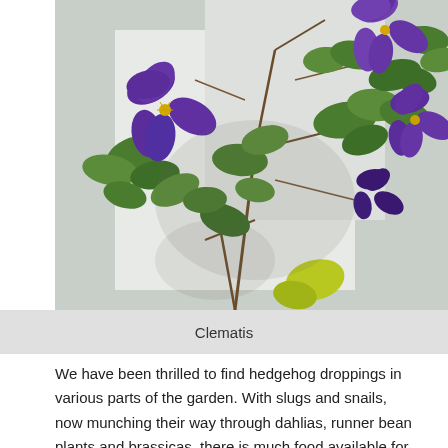[Figure (photo): Photograph of clematis plant with large purple flowers and green leaves climbing against a white wall.]
Clematis
We have been thrilled to find hedgehog droppings in various parts of the garden. With slugs and snails, now munching their way through dahlias, runner bean plants and brassicas, there is much food available for the hedgehogs. We have never used slug pellets in this garden, nature usually keeps everything balanced.